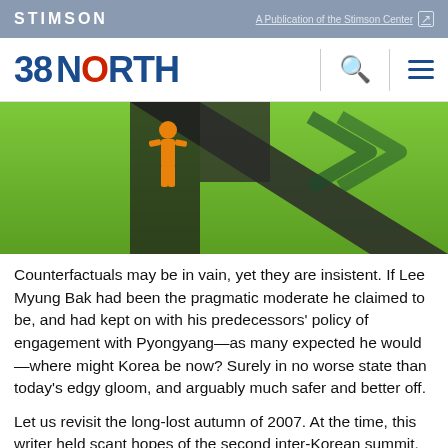STIMSON | A Publication of the Stimson Center
38 NORTH
[Figure (illustration): Green background illustration with a silhouette of a person in orange/yellow standing at a crossroads or intersection of dark paths, viewed from above.]
Counterfactuals may be in vain, yet they are insistent. If Lee Myung Bak had been the pragmatic moderate he claimed to be, and had kept on with his predecessors' policy of engagement with Pyongyang—as many expected he would—where might Korea be now? Surely in no worse state than today's edgy gloom, and arguably much safer and better off.
Let us revisit the long-lost autumn of 2007. At the time, this writer held scant hopes of the second inter-Korean summit. After a decade, Seoul's sunshine policy was...